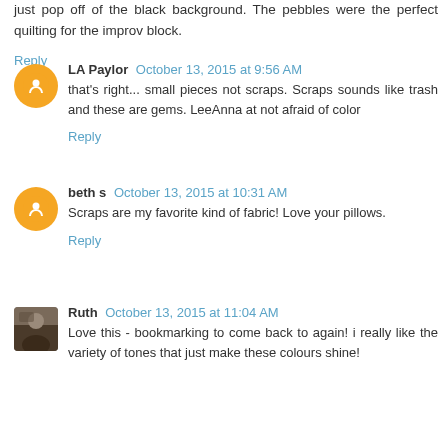just pop off of the black background. The pebbles were the perfect quilting for the improv block.
Reply
LA Paylor October 13, 2015 at 9:56 AM
that's right... small pieces not scraps. Scraps sounds like trash and these are gems. LeeAnna at not afraid of color
Reply
beth s October 13, 2015 at 10:31 AM
Scraps are my favorite kind of fabric! Love your pillows.
Reply
Ruth October 13, 2015 at 11:04 AM
Love this - bookmarking to come back to again! i really like the variety of tones that just make these colours shine!